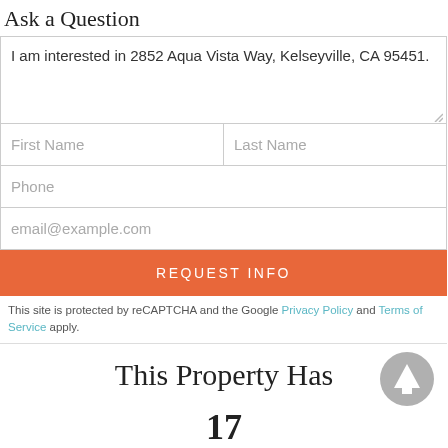Ask a Question
I am interested in 2852 Aqua Vista Way, Kelseyville, CA 95451.
First Name
Last Name
Phone
email@example.com
REQUEST INFO
This site is protected by reCAPTCHA and the Google Privacy Policy and Terms of Service apply.
This Property Has
17
Views